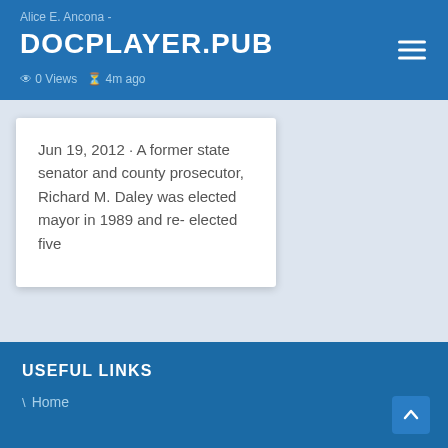Alice E. Ancona - ... · 0 Views · 4m ago
DOCPLAYER.PUB
Jun 19, 2012 · A former state senator and county prosecutor, Richard M. Daley was elected mayor in 1989 and re- elected five
USEFUL LINKS
Home